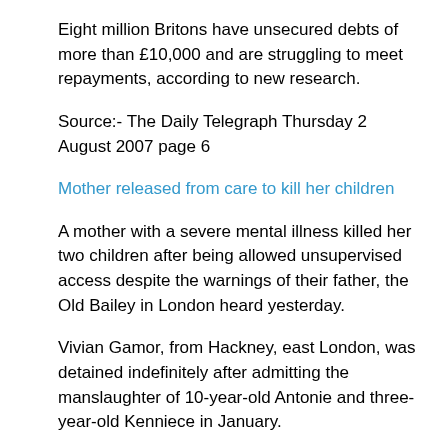Eight million Britons have unsecured debts of more than £10,000 and are struggling to meet repayments, according to new research.
Source:- The Daily Telegraph Thursday 2 August 2007 page 6
Mother released from care to kill her children
A mother with a severe mental illness killed her two children after being allowed unsupervised access despite the warnings of their father, the Old Bailey in London heard yesterday.
Vivian Gamor, from Hackney, east London, was detained indefinitely after admitting the manslaughter of 10-year-old Antonie and three-year-old Kenniece in January.
She had previously been sectioned but was later allowed unsupervised contact with the children despite the protests